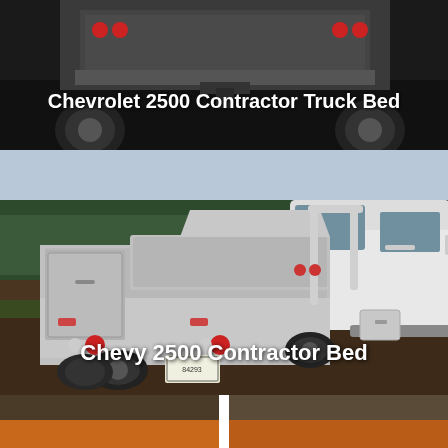[Figure (photo): Close-up rear view of a truck bed, dark background, partial view of truck rear with wheels visible]
Chevrolet 2500 Contractor Truck Bed
[Figure (photo): White Chevrolet 2500 truck with aluminum contractor bed, diamond plate toolboxes on sides, photographed from rear-left angle in a rural field setting with trees in background]
Chevy 2500 Contractor Bed
[Figure (photo): Bottom strip showing partial views of two additional truck/contractor bed images]